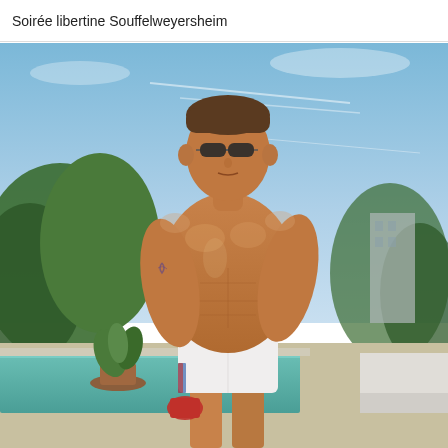Soirée libertine Souffelweyersheim
[Figure (photo): A muscular shirtless man wearing white shorts and sunglasses, holding a red item, standing by a swimming pool with trees and a building in the background under a blue sky.]